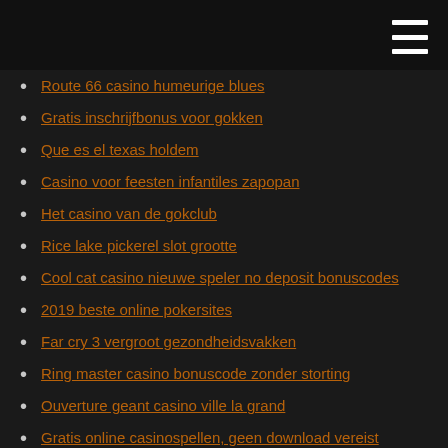Route 66 casino humeurige blues
Gratis inschrijfbonus voor gokken
Que es el texas holdem
Casino voor feesten infantiles zapopan
Het casino van de gokclub
Rice lake pickerel slot grootte
Cool cat casino nieuwe speler no deposit bonuscodes
2019 beste online pokersites
Far cry 3 vergroot gezondheidsvakken
Ring master casino bonuscode zonder storting
Ouverture geant casino ville la grand
Gratis online casinospellen, geen download vereist
Meest realistische texas holdem-app
Hollywood casino amfitheater chicago illinois